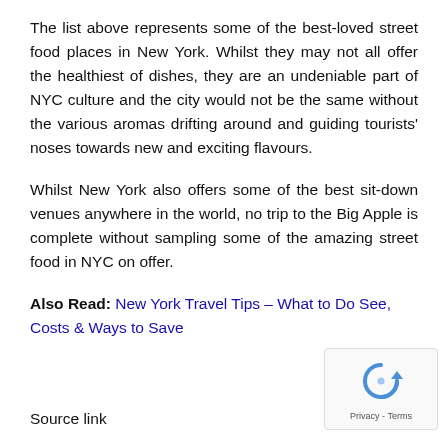The list above represents some of the best-loved street food places in New York. Whilst they may not all offer the healthiest of dishes, they are an undeniable part of NYC culture and the city would not be the same without the various aromas drifting around and guiding tourists' noses towards new and exciting flavours.
Whilst New York also offers some of the best sit-down venues anywhere in the world, no trip to the Big Apple is complete without sampling some of the amazing street food in NYC on offer.
Also Read: New York Travel Tips – What to Do See, Costs & Ways to Save
Source link
[Figure (other): reCAPTCHA widget showing a refresh/robot icon with Privacy - Terms footer text]